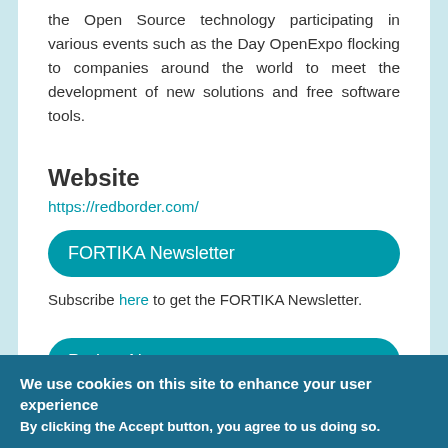the Open Source technology participating in various events such as the Day OpenExpo flocking to companies around the world to meet the development of new solutions and free software tools.
Website
https://redborder.com/
FORTIKA Newsletter
Subscribe here to get the FORTIKA Newsletter.
Project News
We use cookies on this site to enhance your user experience
By clicking the Accept button, you agree to us doing so.